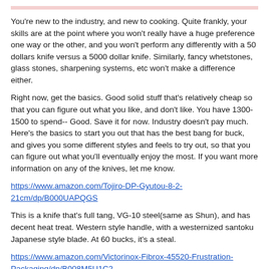You're new to the industry, and new to cooking. Quite frankly, your skills are at the point where you won't really have a huge preference one way or the other, and you won't perform any differently with a 50 dollars knife versus a 5000 dollar knife. Similarly, fancy whetstones, glass stones, sharpening systems, etc won't make a difference either.
Right now, get the basics. Good solid stuff that's relatively cheap so that you can figure out what you like, and don't like. You have 1300-1500 to spend-- Good. Save it for now. Industry doesn't pay much. Here's the basics to start you out that has the best bang for buck, and gives you some different styles and feels to try out, so that you can figure out what you'll eventually enjoy the most. If you want more information on any of the knives, let me know.
https://www.amazon.com/Tojiro-DP-Gyutou-8-2-21cm/dp/B000UAPQGS
This is a knife that's full tang, VG-10 steel(same as Shun), and has decent heat treat. Western style handle, with a westernized santoku Japanese style blade. At 60 bucks, it's a steal.
https://www.amazon.com/Victorinox-Fibrox-45520-Frustration-Packaging/dp/B008M5U1C2
Ubiquitous western style knife. Steel is the same as the more expensive Wustofs, Mercers, and anything that claims to use "German Stainless Steel". It's all x50crmov15, with slightly different heat treats. Victorinox does it right.